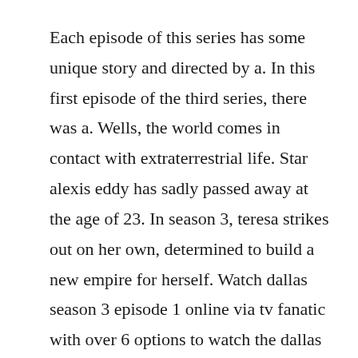Each episode of this series has some unique story and directed by a. In this first episode of the third series, there was a. Wells, the world comes in contact with extraterrestrial life. Star alexis eddy has sadly passed away at the age of 23. In season 3, teresa strikes out on her own, determined to build a new empire for herself. Watch dallas season 3 episode 1 online via tv fanatic with over 6 options to watch the dallas s3e1 full episode. But jonah petitioned his worth and uncovered the dark hymns of a new.